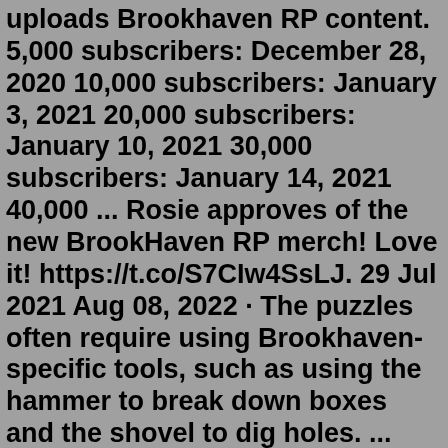uploads Brookhaven RP content. 5,000 subscribers: December 28, 2020 10,000 subscribers: January 3, 2021 20,000 subscribers: January 10, 2021 30,000 subscribers: January 14, 2021 40,000 ... Rosie approves of the new BrookHaven RP merch! Love it! https://t.co/S7CIw4SsLJ. 29 Jul 2021 Aug 08, 2022 · The puzzles often require using Brookhaven-specific tools, such as using the hammer to break down boxes and the shovel to dig holes. ... O1G, and IamSanna are now on the hunt to figure out what ... 5 SECRETS in the Roblox Brookhaven RP SPACE-X UPDATE. O1G. 10.06.2022. How to get FREE PREMIUM in Brookhaven RP *REALLY WORKS!* Sana The Unicorn player.udemy writing courses free A safe is an item in Brookhaven. The use of the safe only has two uses. The first use is to rob other peoples houses. And the other, are save money. To find it, it's very simple. In every house, the safe has an different area it's in. In some houses, the safe are hidden is secret places. Enes, requesting you to use his star code every time you buy Robux.Use star code ENES xEnesR, also